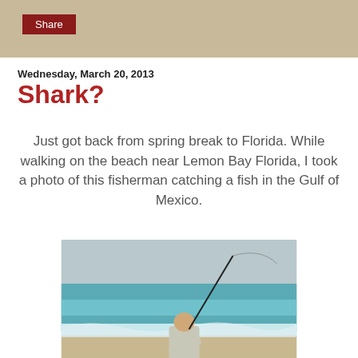Share
Wednesday, March 20, 2013
Shark?
Just got back from spring break to Florida. While walking on the beach near Lemon Bay Florida, I took a photo of this fisherman catching a fish in the Gulf of Mexico.
[Figure (photo): A man standing at the shoreline of the Gulf of Mexico, viewed from behind, holding a fishing rod that arcs up and over the turquoise water. Sandy beach and waves are visible.]